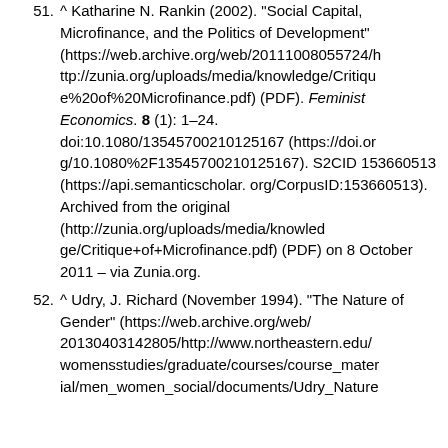51. ^ Katharine N. Rankin (2002). "Social Capital, Microfinance, and the Politics of Development" (https://web.archive.org/web/20111008055724/http://zunia.org/uploads/media/knowledge/Critique%20of%20Microfinance.pdf) (PDF). Feminist Economics. 8 (1): 1–24. doi:10.1080/13545700210125167 (https://doi.org/10.1080%2F13545700210125167). S2CID 153660513 (https://api.semanticscholar.org/CorpusID:153660513). Archived from the original (http://zunia.org/uploads/media/knowledge/Critique+of+Microfinance.pdf) (PDF) on 8 October 2011 – via Zunia.org.
52. ^ Udry, J. Richard (November 1994). "The Nature of Gender" (https://web.archive.org/web/20130403142805/http://www.northeastern.edu/womensstudies/graduate/courses/course_material/men_women_social/documents/Udry_Nature